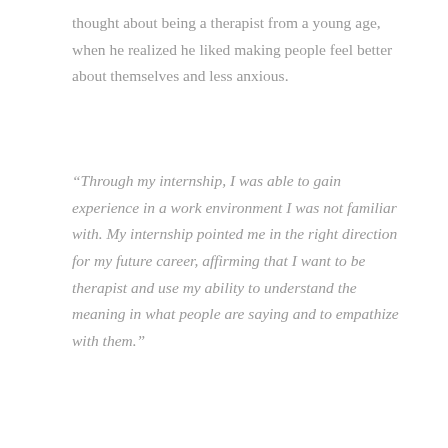thought about being a therapist from a young age, when he realized he liked making people feel better about themselves and less anxious.
“Through my internship, I was able to gain experience in a work environment I was not familiar with. My internship pointed me in the right direction for my future career, affirming that I want to be therapist and use my ability to understand the meaning in what people are saying and to empathize with them.”